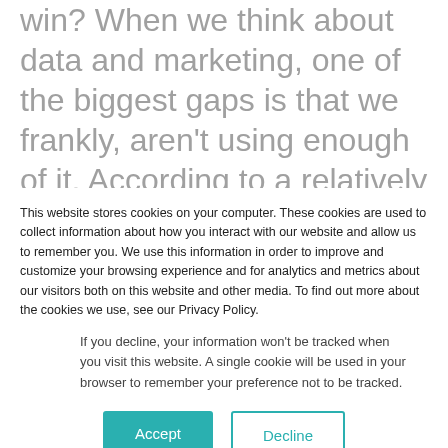win? When we think about data and marketing, one of the biggest gaps is that we frankly, aren't using enough of it. According to a relatively recent statistic by IBM, up to 90% of data within a corporation goes unused. And
there are a lot of marketers who are still what I would call data resistant, they are not doing as
This website stores cookies on your computer. These cookies are used to collect information about how you interact with our website and allow us to remember you. We use this information in order to improve and customize your browsing experience and for analytics and metrics about our visitors both on this website and other media. To find out more about the cookies we use, see our Privacy Policy.
If you decline, your information won't be tracked when you visit this website. A single cookie will be used in your browser to remember your preference not to be tracked.
Accept
Decline